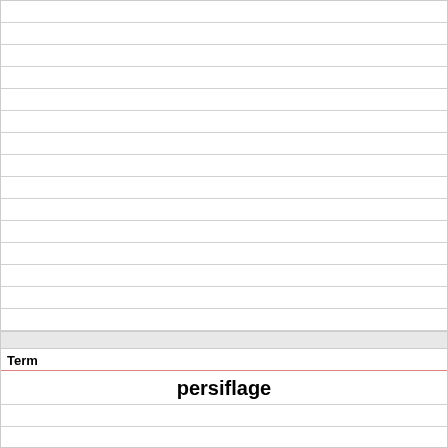Term
persiflage
Definition
wittiness